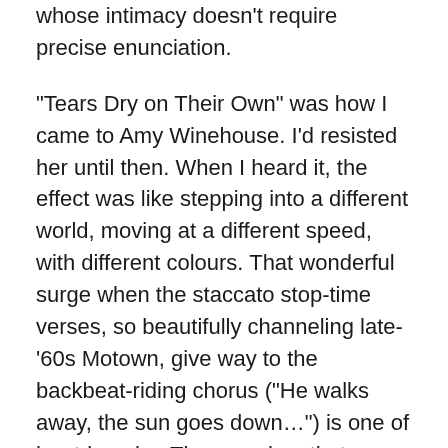whose intimacy doesn't require precise enunciation.
“Tears Dry on Their Own” was how I came to Amy Winehouse. I’d resisted her until then. When I heard it, the effect was like stepping into a different world, moving at a different speed, with different colours. That wonderful surge when the staccato stop-time verses, so beautifully channeling late-’60s Motown, give way to the backbeat-riding chorus (“He walks away, the sun goes down…”) is one of her triumphs. The song has that happy/sad thing going beyond words, even though the words of the song were so blazingly eloquent.
Maybe the best thing about Amy is that although it resolutely avoids hagiography or myth-making, the person who comes out of it best is the film’s subject. By using his feel-good, feel-bad movie to deepen our respect for her